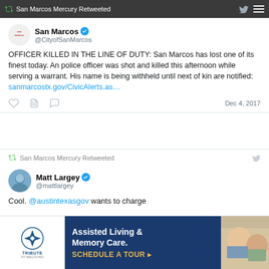San Marcos Mercury Retweeted
San Marcos @CityofSanMarcos
OFFICER KILLED IN THE LINE OF DUTY: San Marcos has lost one of its finest today. An police officer was shot and killed this afternoon while serving a warrant. His name is being withheld until next of kin are notified: sanmarcostx.gov/CivicAlerts.as…
Dec 4, 2017
San Marcos Mercury Retweeted
Matt Largey @mattlargey
Cool. @austintexasgov wants to charge
[Figure (infographic): Advertisement for Tribute at Melford - Assisted Living & Memory Care with a Schedule A Tour CTA, showing logo and people studying in background]